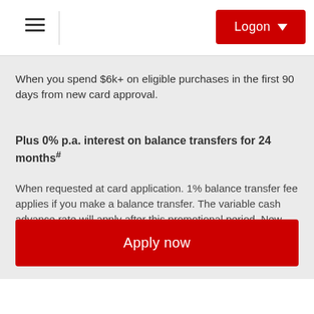Logon
When you spend $6k+ on eligible purchases in the first 90 days from new card approval.
Plus 0% p.a. interest on balance transfers for 24 months#
When requested at card application. 1% balance transfer fee applies if you make a balance transfer. The variable cash advance rate will apply after this promotional period. New cards only.
Apply now